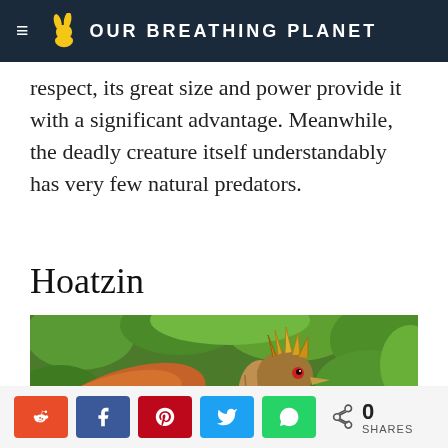OUR BREATHING PLANET
respect, its great size and power provide it with a significant advantage. Meanwhile, the deadly creature itself understandably has very few natural predators.
Hoatzin
[Figure (photo): A hoatzin bird with brown and orange plumage, spiky crest, and spread wing, perched among green leaves]
0 SHARES